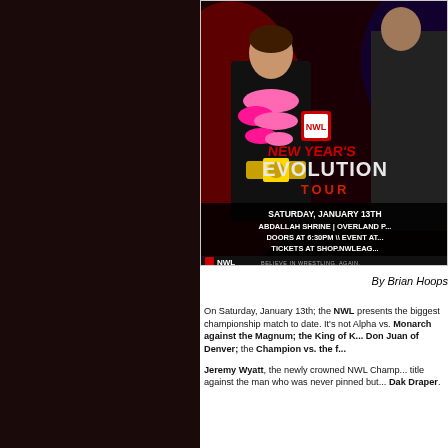[Figure (photo): NWL New Year's Evolution Tour event poster. Shows a wrestler wearing a pink feather boa and championship belt. Text reads: NEW YEAR'S EVOLUTION TOUR. Saturday, January 13th. Abdallah Shrine | Overland P... Doors at 6:30PM \ Event At... Tickets at shop.nwleag... NWL logo. Believe in wrestling. Again.]
By Brian Hoops
On Saturday, January 13th; the NWL presents the biggest championship match to date. It's not Alpha vs. Monarch against the Magnum; the King of K... Don Juan of Denver; the Champion vs. the f...
Jeremy Wyatt, the newly crowned NWL Champ... title against the man who was never pinned but... Dak Draper.